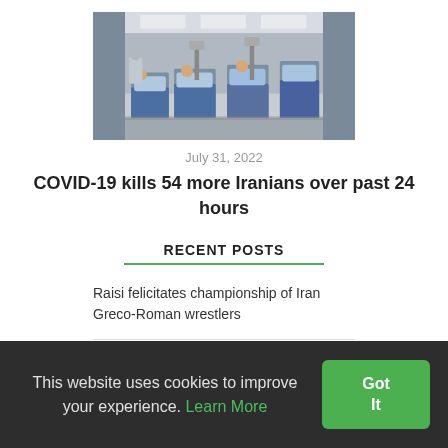[Figure (photo): Hospital ward with medical staff in protective gear attending to patients in beds, ICU setting]
July 31, 2022
COVID-19 kills 54 more Iranians over past 24 hours
RECENT POSTS
Raisi felicitates championship of Iran Greco-Roman wrestlers
Over 1.1 tons of
This website uses cookies to improve your experience. Learn More